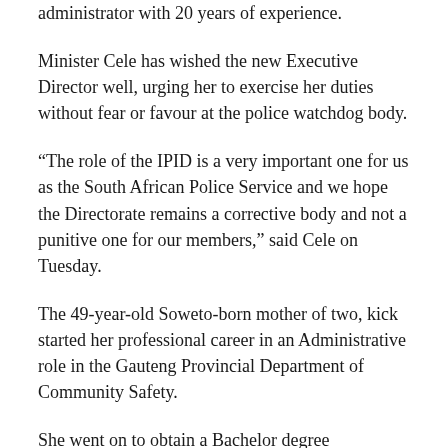administrator with 20 years of experience.
Minister Cele has wished the new Executive Director well, urging her to exercise her duties without fear or favour at the police watchdog body.
“The role of the IPID is a very important one for us as the South African Police Service and we hope the Directorate remains a corrective body and not a punitive one for our members,” said Cele on Tuesday.
The 49-year-old Soweto-born mother of two, kick started her professional career in an Administrative role in the Gauteng Provincial Department of Community Safety.
She went on to obtain a Bachelor degree qualification from the University of South Africa (UNISA).